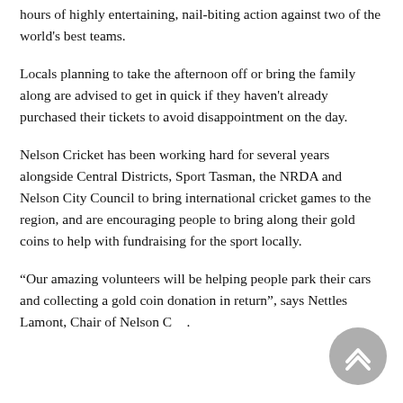hours of highly entertaining, nail-biting action against two of the world's best teams.
Locals planning to take the afternoon off or bring the family along are advised to get in quick if they haven't already purchased their tickets to avoid disappointment on the day.
Nelson Cricket has been working hard for several years alongside Central Districts, Sport Tasman, the NRDA and Nelson City Council to bring international cricket games to the region, and are encouraging people to bring along their gold coins to help with fundraising for the sport locally.
“Our amazing volunteers will be helping people park their cars and collecting a gold coin donation in return”, says Nettles Lamont, Chair of Nelson C...